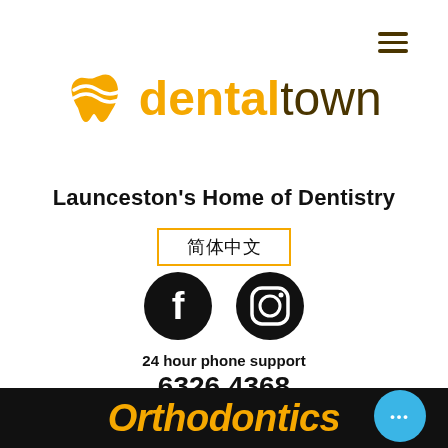[Figure (logo): Dentaltown logo with orange tooth/ribbon icon and text 'dental town']
Launceston's Home of Dentistry
简体中文
[Figure (illustration): Facebook and Instagram social media icons (black circles with white icons)]
24 hour phone support
6326 4368
[Figure (illustration): Orange banner bar]
[Figure (illustration): Black promotional banner with orange italic text 'Orthodontics' and a blue chat bubble with ellipsis]